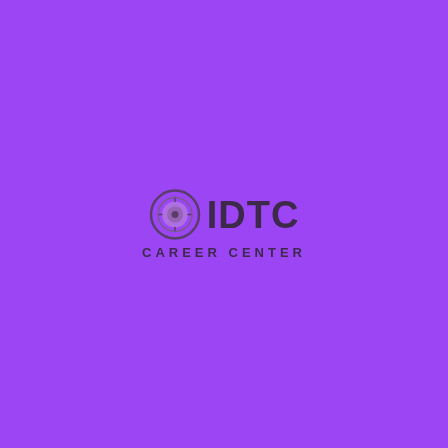[Figure (logo): IDTC Career Center logo: a circular icon with a compass/target design in muted purple tones on left, followed by bold dark text 'IDTC' and below it 'CAREER CENTER' in spaced uppercase letters, all centered on a bright purple background.]